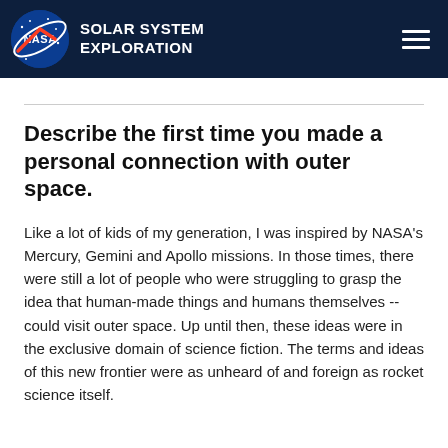NASA SOLAR SYSTEM EXPLORATION
Describe the first time you made a personal connection with outer space.
Like a lot of kids of my generation, I was inspired by NASA's Mercury, Gemini and Apollo missions. In those times, there were still a lot of people who were struggling to grasp the idea that human-made things and humans themselves -- could visit outer space. Up until then, these ideas were in the exclusive domain of science fiction. The terms and ideas of this new frontier were as unheard of and foreign as rocket science itself.